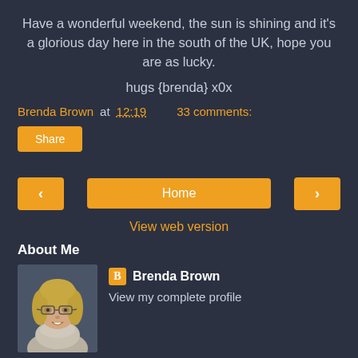Have a wonderful weekend, the sun is shining and it's a glorious day here in the south of the UK, hope you are as lucky.
hugs {brenda} x0x
Brenda Brown at 12:19    33 comments:
Share
[Figure (screenshot): Navigation buttons: left arrow, Home, right arrow]
View web version
About Me
[Figure (photo): Profile photo of Brenda Brown - woman with glasses and light hair]
Brenda Brown
View my complete profile
Powered by Blogger.